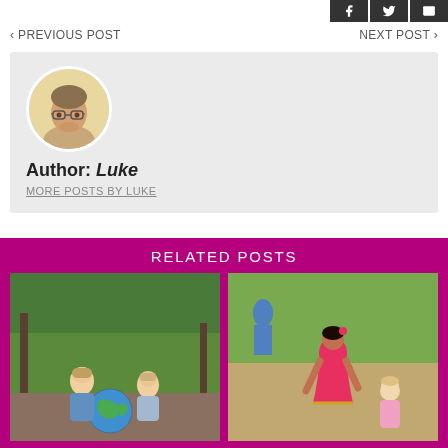[Figure (other): Social share buttons: Facebook, Twitter, Email]
‹ PREVIOUS POST
NEXT POST ›
[Figure (photo): Circular author avatar photo of Luke, a man with glasses]
Author: Luke
MORE POSTS BY LUKE
RELATED POSTS
[Figure (photo): Two children looking at a globe outdoors]
[Figure (photo): Woman in red sari bending toward a young child outdoors]